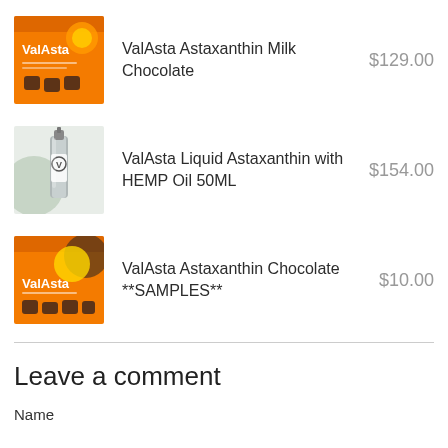[Figure (illustration): ValAsta Astaxanthin Milk Chocolate product image - orange packaging with ValAsta logo and chocolate pieces]
ValAsta Astaxanthin Milk Chocolate
$129.00
[Figure (photo): ValAsta Liquid Astaxanthin with HEMP Oil 50ML product image - grey/silver spray bottle]
ValAsta Liquid Astaxanthin with HEMP Oil 50ML
$154.00
[Figure (illustration): ValAsta Astaxanthin Chocolate SAMPLES product image - orange packaging with ValAsta logo and chocolate pieces]
ValAsta Astaxanthin Chocolate **SAMPLES**
$10.00
Leave a comment
Name